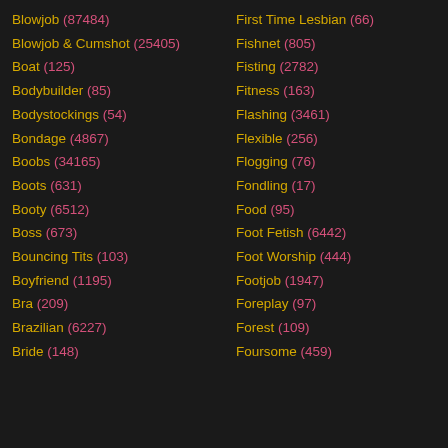Blowjob (87484)
Blowjob & Cumshot (25405)
Boat (125)
Bodybuilder (85)
Bodystockings (54)
Bondage (4867)
Boobs (34165)
Boots (631)
Booty (6512)
Boss (673)
Bouncing Tits (103)
Boyfriend (1195)
Bra (209)
Brazilian (6227)
Bride (148)
First Time Lesbian (66)
Fishnet (805)
Fisting (2782)
Fitness (163)
Flashing (3461)
Flexible (256)
Flogging (76)
Fondling (17)
Food (95)
Foot Fetish (6442)
Foot Worship (444)
Footjob (1947)
Foreplay (97)
Forest (109)
Foursome (459)